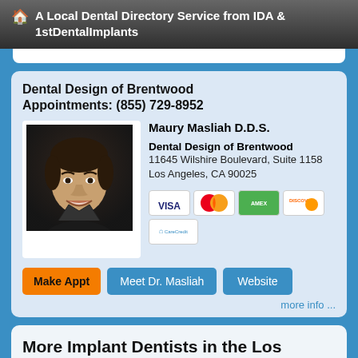A Local Dental Directory Service from IDA & 1stDentalImplants
Dental Design of Brentwood
Appointments: (855) 729-8952
[Figure (photo): Headshot of Dr. Maury Masliah, a man in dark clothing smiling]
Maury Masliah D.D.S.
Dental Design of Brentwood
11645 Wilshire Boulevard, Suite 1158
Los Angeles, CA 90025
[Figure (other): Payment icons: VISA, MasterCard, American Express, Discover, CareCredit]
Make Appt   Meet Dr. Masliah   Website
more info ...
More Implant Dentists in the Los Angeles, CA Area Near You